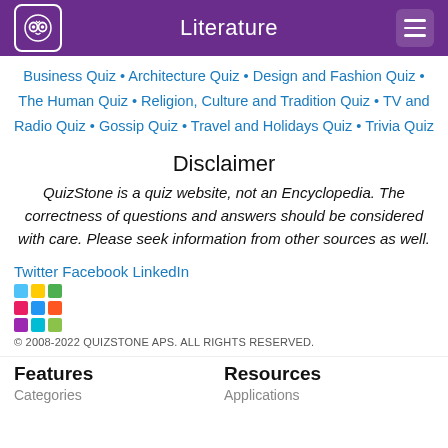Literature
Business Quiz • Architecture Quiz • Design and Fashion Quiz • The Human Quiz • Religion, Culture and Tradition Quiz • TV and Radio Quiz • Gossip Quiz • Travel and Holidays Quiz • Trivia Quiz
Disclaimer
QuizStone is a quiz website, not an Encyclopedia. The correctness of questions and answers should be considered with care. Please seek information from other sources as well.
Twitter Facebook LinkedIn
© 2008-2022 QUIZSTONE APS. ALL RIGHTS RESERVED.
Features
Resources
Categories
Applications